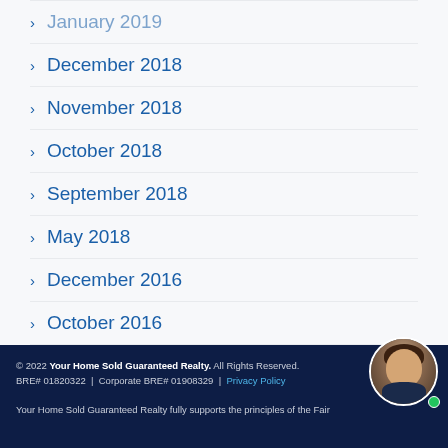January 2019
December 2018
November 2018
October 2018
September 2018
May 2018
December 2016
October 2016
September 2016
© 2022 Your Home Sold Guaranteed Realty. All Rights Reserved. BRE# 01820322 | Corporate BRE# 01908329 | Privacy Policy
Your Home Sold Guaranteed Realty fully supports the principles of the Fair